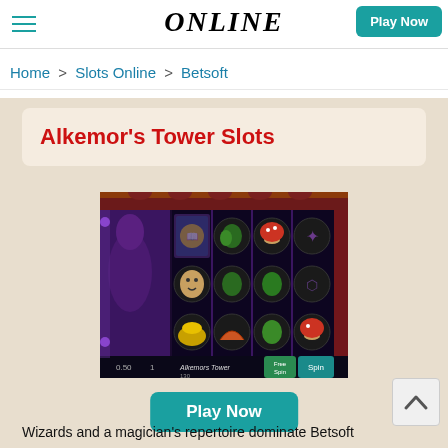ONLINE
Home > Slots Online > Betsoft
Alkemor's Tower Slots
[Figure (screenshot): Alkemor's Tower slot machine game screenshot showing reel symbols including a wizard, spell book, potions, mushrooms, gold cauldron, rings, and plants on a dark mystical themed background. Bottom UI shows balance 0.50, bet 1, game title Alkemors Tower 130, free spins button, Spin button.]
Play Now
Wizards and a magician's repertoire dominate Betsoft